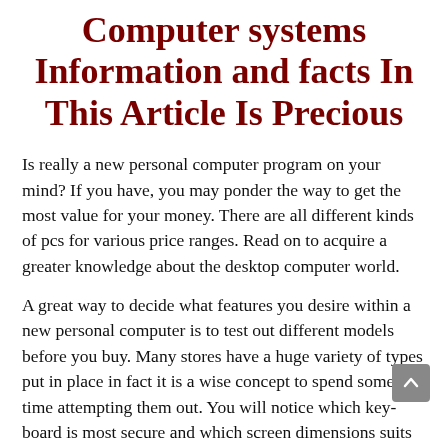Computer systems Information and facts In This Article Is Precious
Is really a new personal computer program on your mind? If you have, you may ponder the way to get the most value for your money. There are all different kinds of pcs for various price ranges. Read on to acquire a greater knowledge about the desktop computer world.
A great way to decide what features you desire within a new personal computer is to test out different models before you buy. Many stores have a huge variety of types put in place in fact it is a wise concept to spend some time attempting them out. You will notice which key-board is most secure and which screen dimensions suits your preferences.
Don't overlook the quality of the desktop computer monitor when contemplating your obtain. The features in the genuine computer might be incredible, however if the monitor is very poor, your